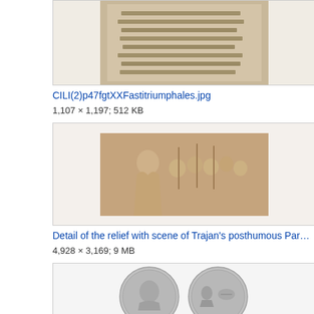[Figure (photo): Partial view of stone inscription tablet (top cropped), showing ancient Latin or Greek text carved in stone]
CILI(2)p47fgtXXFastitriumphales.jpg
1,107 × 1,197; 512 KB
[Figure (photo): Stone relief carving showing a figure in robes with multiple heads/busts of people behind, on a reddish-brown stone background, scene of Trajan's posthumous Parthian triumph]
Detail of the relief with scene of Trajan's posthumous Par…
4,928 × 3,169; 9 MB
[Figure (photo): Two ancient Roman silver coins (denarii) side by side, showing obverse portrait on left coin and reverse scene on right coin]